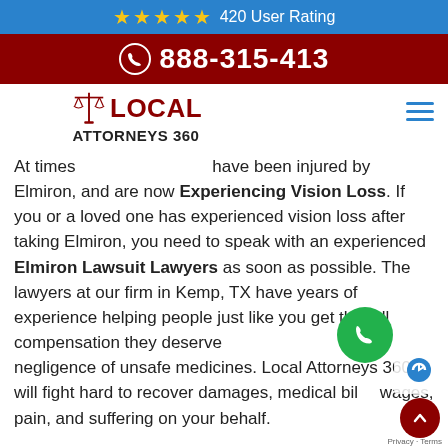★★★★★ 420 User Rating
☎ 888-315-413
[Figure (logo): Local Attorneys 360 logo with scales of justice icon]
At times have been injured by Elmiron, and are now Experiencing Vision Loss. If you or a loved one has experienced vision loss after taking Elmiron, you need to speak with an experienced Elmiron Lawsuit Lawyers as soon as possible. The lawyers at our firm in Kemp, TX have years of experience helping people just like you get the full compensation they deserve negligence of unsafe medicines. Local Attorneys 360 will fight hard to recover damages, medical bills, wages, pain, and suffering on your behalf.